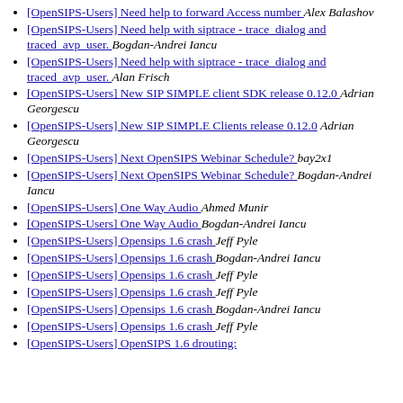[OpenSIPS-Users] Need help to forward Access number  Alex Balashov
[OpenSIPS-Users] Need help with siptrace - trace_dialog and traced_avp_user.  Bogdan-Andrei Iancu
[OpenSIPS-Users] Need help with siptrace - trace_dialog and traced_avp_user.  Alan Frisch
[OpenSIPS-Users] New SIP SIMPLE client SDK release 0.12.0  Adrian Georgescu
[OpenSIPS-Users] New SIP SIMPLE Clients release 0.12.0  Adrian Georgescu
[OpenSIPS-Users] Next OpenSIPS Webinar Schedule?  bay2x1
[OpenSIPS-Users] Next OpenSIPS Webinar Schedule?  Bogdan-Andrei Iancu
[OpenSIPS-Users] One Way Audio  Ahmed Munir
[OpenSIPS-Users] One Way Audio  Bogdan-Andrei Iancu
[OpenSIPS-Users] Opensips 1.6 crash  Jeff Pyle
[OpenSIPS-Users] Opensips 1.6 crash  Bogdan-Andrei Iancu
[OpenSIPS-Users] Opensips 1.6 crash  Jeff Pyle
[OpenSIPS-Users] Opensips 1.6 crash  Jeff Pyle
[OpenSIPS-Users] Opensips 1.6 crash  Bogdan-Andrei Iancu
[OpenSIPS-Users] Opensips 1.6 crash  Jeff Pyle
[OpenSIPS-Users] OpenSIPS 1.6 drouting: